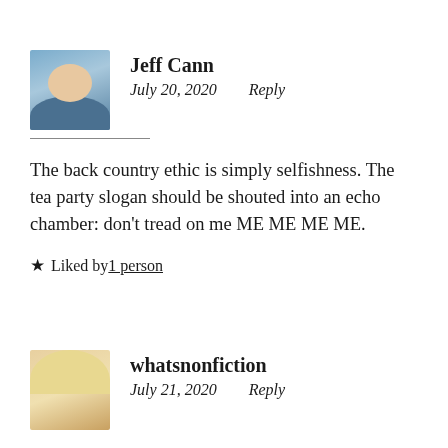[Figure (photo): Avatar photo of Jeff Cann, a bald man with glasses]
Jeff Cann
July 20, 2020    Reply
The back country ethic is simply selfishness. The tea party slogan should be shouted into an echo chamber: don’t tread on me ME ME ME ME.
★ Liked by 1 person
[Figure (photo): Avatar photo of whatsnonfiction, a blonde woman]
whatsnonfiction
July 21, 2020    Reply